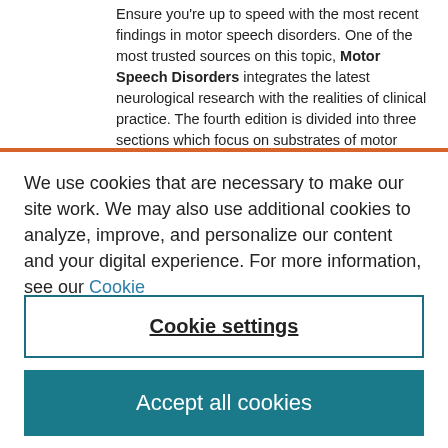Ensure you're up to speed with the most recent findings in motor speech disorders. One of the most trusted sources on this topic, Motor Speech Disorders integrates the latest neurological research with the realities of clinical practice. The fourth edition is divided into three sections which focus on substrates of motor speech and its disorders, the disorders and their diagnoses, and finally
We use cookies that are necessary to make our site work. We may also use additional cookies to analyze, improve, and personalize our content and your digital experience. For more information, see our Cookie Policy
Cookie settings
Accept all cookies